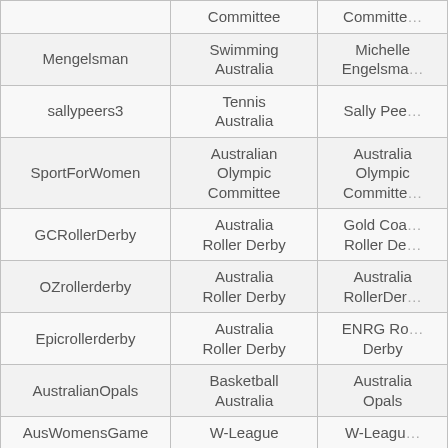| (Username) | (Organization) | (Display Name) |
| --- | --- | --- |
|  | Committee | Committee |
| Mengelsman | Swimming Australia | Michelle Engelsman |
| sallypeers3 | Tennis Australia | Sally Peers |
| SportForWomen | Australian Olympic Committee | Australian Olympic Committee |
| GCRollerDerby | Australia Roller Derby | Gold Coast Roller Derby |
| OZrollerderby | Australia Roller Derby | Australia RollerDerby |
| Epicrollerderby | Australia Roller Derby | ENRG Roller Derby |
| AustralianOpals | Basketball Australia | Australian Opals |
| AusWomensGame | W-League | W-League |
|  | Australia |  |